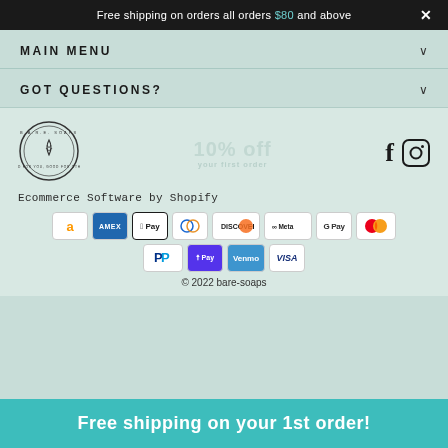Free shipping on orders all orders $80 and above  ×
MAIN MENU
GOT QUESTIONS?
[Figure (logo): Bare Soaps circular logo with water drop and text 'B.A.R.E. SOAPS – Good for you, good for others']
Ecommerce Software by Shopify
[Figure (infographic): Payment method icons: Amazon, Amex, Apple Pay, Diners, Discover, Meta Pay, Google Pay, Mastercard, PayPal, Shop Pay, Venmo, Visa]
© 2022 bare-soaps
Free shipping on your 1st order!